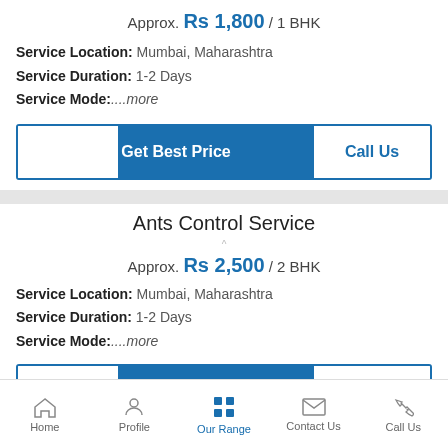Approx. Rs 1,800 / 1 BHK
Service Location: Mumbai, Maharashtra
Service Duration: 1-2 Days
Service Mode:....more
[Figure (screenshot): Get Best Price and Call Us buttons]
Ants Control Service
Approx. Rs 2,500 / 2 BHK
Service Location: Mumbai, Maharashtra
Service Duration: 1-2 Days
Service Mode:....more
[Figure (screenshot): Partial Get Best Price and Call Us buttons]
Home | Profile | Our Range | Contact Us | Call Us